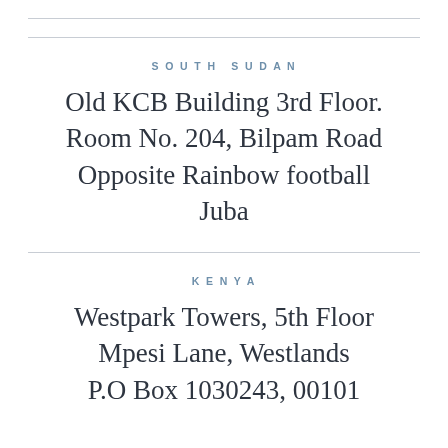SOUTH SUDAN
Old KCB Building 3rd Floor. Room No. 204, Bilpam Road Opposite Rainbow football
Juba
KENYA
Westpark Towers, 5th Floor
Mpesi Lane, Westlands
P.O Box 10304, 00101